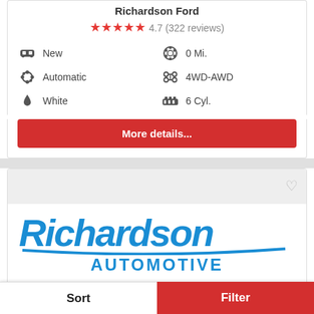Richardson Ford
4.7 (322 reviews)
New | 0 Mi. | Automatic | 4WD-AWD | White | 6 Cyl.
More details...
[Figure (logo): Richardson Automotive logo with italic blue text 'Richardson' above 'AUTOMOTIVE' in bold blue letters, with a swoosh underline]
Vehicle is being detailed and serviced for the lot!
Sort | Filter